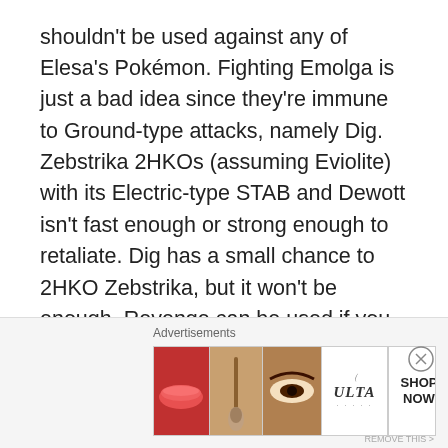shouldn't be used against any of Elesa's Pokémon. Fighting Emolga is just a bad idea since they're immune to Ground-type attacks, namely Dig. Zebstrika 2HKOs (assuming Eviolite) with its Electric-type STAB and Dewott isn't fast enough or strong enough to retaliate. Dig has a small chance to 2HKO Zebstrika, but it won't be enough. Revenge can be used if you like to take risks since Zebstrika is only packing attacking moves, but it's a terrible plan since it won't do that much damage. Use Eviolite Sandile/Palpitoad for this battle. Heck, even Quiver Dance Lilligant is a better option. Recommended Level and Moveset: Level 27; Razor Shell, Retaliate,
[Figure (other): Advertisement banner for ULTA Beauty showing makeup-themed panels: lips with lipstick, makeup brush, eye with makeup, ULTA logo, eye with dramatic makeup, and SHOP NOW call to action button.]